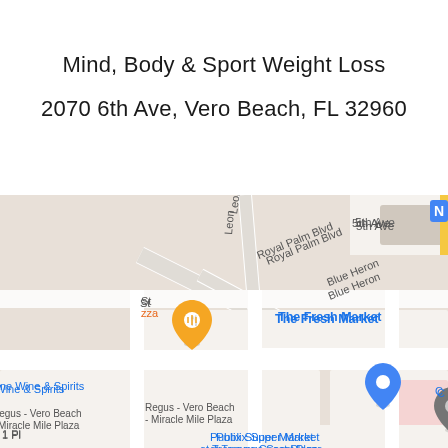Mind, Body & Sport Weight Loss
2070 6th Ave, Vero Beach, FL 32960
[Figure (map): Google Maps screenshot showing the location of Mind, Body & Sport Weight Loss at 2070 6th Ave, Vero Beach, FL 32960. The map shows surrounding streets including Royal Palm Blvd, Blue Heron, 5th Ave, 21st St, 22nd Pl, and Leon. Nearby landmarks include The Fresh Market, Truist bank, First Watch, Regus Vero Beach Miracle Mile Plaza, ne Wine & Spirits, Chase Bank, Publix Super Market at Treasure Coast Plaza, and T.J. Maxx. Map pins in orange (restaurants/food) and blue (shopping/services) are visible throughout.]